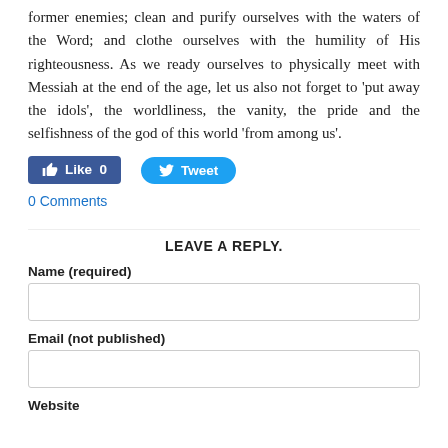former enemies; clean and purify ourselves with the waters of the Word; and clothe ourselves with the humility of His righteousness. As we ready ourselves to physically meet with Messiah at the end of the age, let us also not forget to 'put away the idols', the worldliness, the vanity, the pride and the selfishness of the god of this world 'from among us'.
[Figure (screenshot): Facebook Like button showing 0 likes and Twitter Tweet button]
0 Comments
LEAVE A REPLY.
Name (required)
Email (not published)
Website